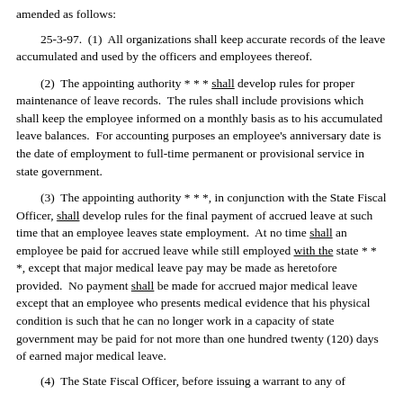amended as follows:
25-3-97.  (1)  All organizations shall keep accurate records of the leave accumulated and used by the officers and employees thereof.
(2)  The appointing authority * * * shall develop rules for proper maintenance of leave records.  The rules shall include provisions which shall keep the employee informed on a monthly basis as to his accumulated leave balances.  For accounting purposes an employee's anniversary date is the date of employment to full-time permanent or provisional service in state government.
(3)  The appointing authority * * *, in conjunction with the State Fiscal Officer, shall develop rules for the final payment of accrued leave at such time that an employee leaves state employment.  At no time shall an employee be paid for accrued leave while still employed with the state * * *, except that major medical leave pay may be made as heretofore provided.  No payment shall be made for accrued major medical leave except that an employee who presents medical evidence that his physical condition is such that he can no longer work in a capacity of state government may be paid for not more than one hundred twenty (120) days of earned major medical leave.
(4)  The State Fiscal Officer, before issuing a warrant to any of